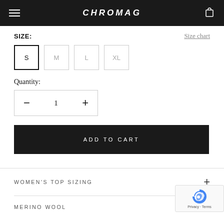CHROMAG
SIZE:
Size chart
S   M   L   XL
Quantity:
— 1 +
ADD TO CART
WOMEN'S TOP SIZING
MERINO WOOL